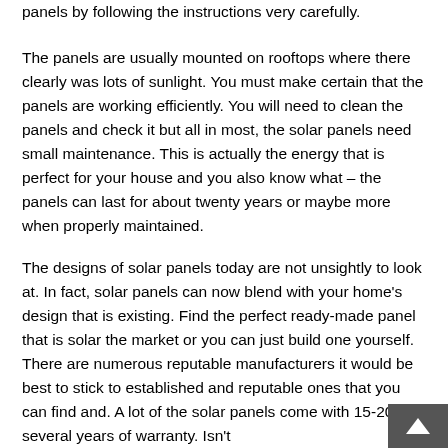panels by following the instructions very carefully.
The panels are usually mounted on rooftops where there clearly was lots of sunlight. You must make certain that the panels are working efficiently. You will need to clean the panels and check it but all in most, the solar panels need small maintenance. This is actually the energy that is perfect for your house and you also know what – the panels can last for about twenty years or maybe more when properly maintained.
The designs of solar panels today are not unsightly to look at. In fact, solar panels can now blend with your home's design that is existing. Find the perfect ready-made panel that is solar the market or you can just build one yourself. There are numerous reputable manufacturers it would be best to stick to established and reputable ones that you can find and. A lot of the solar panels come with 15-20 several years of warranty. Isn't